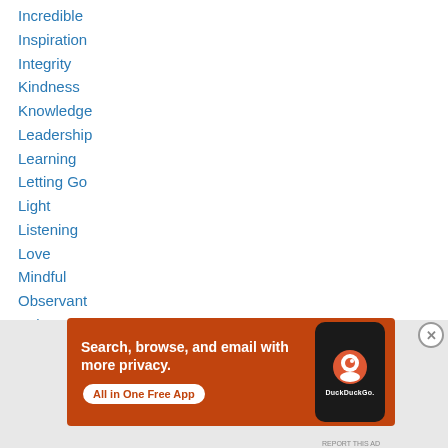Incredible
Inspiration
Integrity
Kindness
Knowledge
Leadership
Learning
Letting Go
Light
Listening
Love
Mindful
Observant
Pain
[Figure (screenshot): DuckDuckGo advertisement banner with orange background. Text reads 'Search, browse, and email with more privacy. All in One Free App' with a phone showing DuckDuckGo logo.]